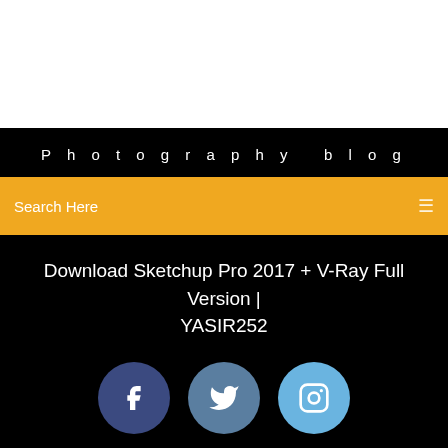Photography blog
Search Here
Download Sketchup Pro 2017 + V-Ray Full Version | YASIR252
[Figure (illustration): Three social media icon circles: Facebook (dark blue), Twitter (medium blue), Instagram (light blue)]
Installer Youtube Sur Son Pc
Ghost Recon Future Soldier Ps3 Gameplay